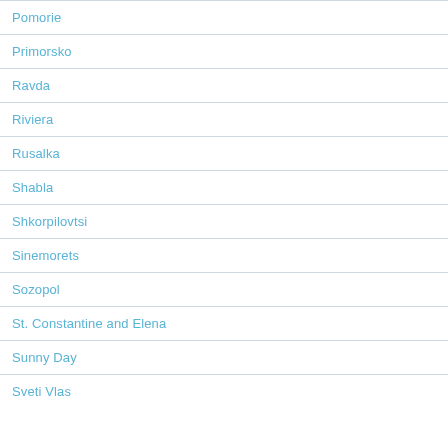Pomorie
Primorsko
Ravda
Riviera
Rusalka
Shabla
Shkorpilovtsi
Sinemorets
Sozopol
St. Constantine and Elena
Sunny Day
Sveti Vlas